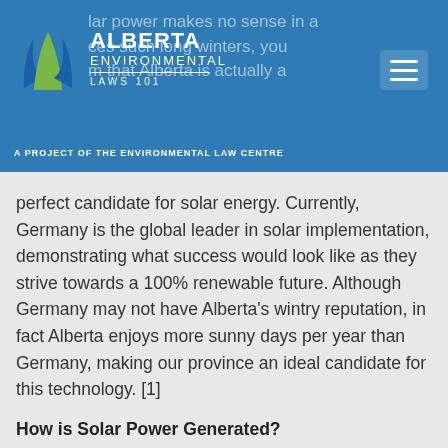Alberta Environmental Laws 101 — A Project of the Environmental Law Centre
perfect candidate for solar energy. Currently, Germany is the global leader in solar implementation, demonstrating what success would look like as they strive towards a 100% renewable future. Although Germany may not have Alberta's wintry reputation, in fact Alberta enjoys more sunny days per year than Germany, making our province an ideal candidate for this technology. [1]
How is Solar Power Generated?
Electricity can be produced by solar power through a process known as a solar photovoltaic system (although a solar thermal system can also produce heat). A solar photovoltaic (PV) system uses solar